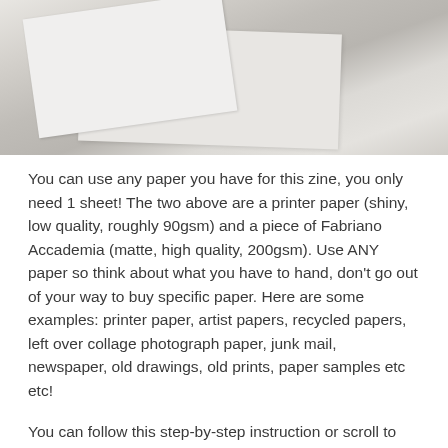[Figure (photo): Overhead photo of two sheets of paper on a grey concrete/stone surface. One sheet is bright white (printer paper) and one is slightly off-white/cream (Fabriano Accademia 200gsm), arranged at angles overlapping each other.]
You can use any paper you have for this zine, you only need 1 sheet! The two above are a printer paper (shiny, low quality, roughly 90gsm) and a piece of Fabriano Accademia (matte, high quality, 200gsm). Use ANY paper so think about what you have to hand, don't go out of your way to buy specific paper. Here are some examples: printer paper, artist papers, recycled papers, left over collage photograph paper, junk mail, newspaper, old drawings, old prints, paper samples etc etc!
You can follow this step-by-step instruction or scroll to the end of this blog post where there is a video of this process.